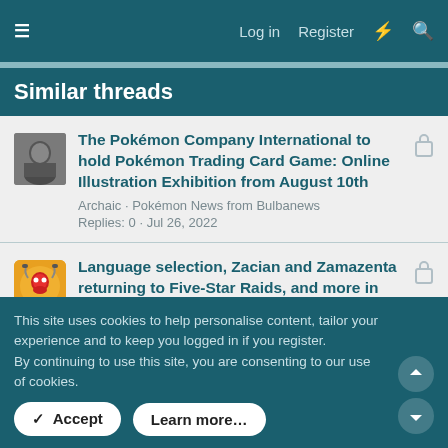≡  Log in  Register  ⚡  🔍
Similar threads
The Pokémon Company International to hold Pokémon Trading Card Game: Online Illustration Exhibition from August 10th
Archaic · Pokémon News from Bulbanews
Replies: 0 · Jul 26, 2022
Language selection, Zacian and Zamazenta returning to Five-Star Raids, and more in Pokémon GO's August 2022 monthly update
AllenWarrior · Pokémon News from Bulbanews
Replies: 0 · Jul 27, 2022
This site uses cookies to help personalise content, tailor your experience and to keep you logged in if you register.
By continuing to use this site, you are consenting to our use of cookies.